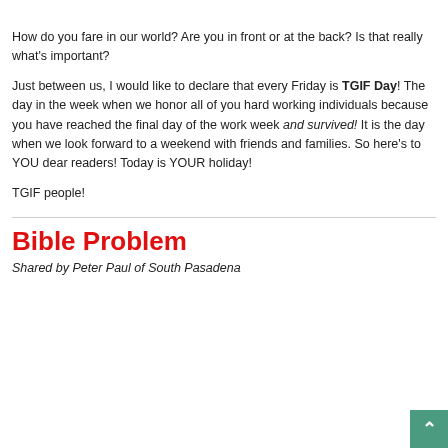How do you fare in our world? Are you in front or at the back? Is that really what's important?
Just between us, I would like to declare that every Friday is TGIF Day! The day in the week when we honor all of you hard working individuals because you have reached the final day of the work week and survived! It is the day when we look forward to a weekend with friends and families. So here's to YOU dear readers! Today is YOUR holiday!
TGIF people!
Bible Problem
Shared by Peter Paul of South Pasadena